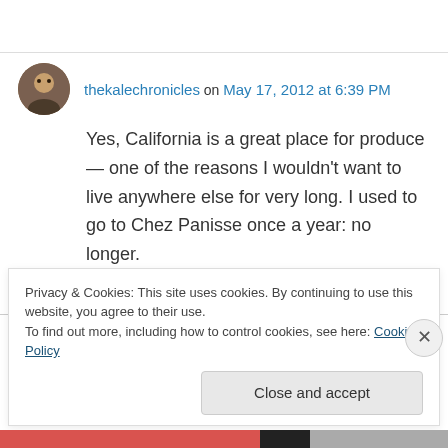thekalechronicles on May 17, 2012 at 6:39 PM
Yes, California is a great place for produce — one of the reasons I wouldn't want to live anywhere else for very long. I used to go to Chez Panisse once a year: no longer.
↳ Reply
Privacy & Cookies: This site uses cookies. By continuing to use this website, you agree to their use.
To find out more, including how to control cookies, see here: Cookie Policy
Close and accept